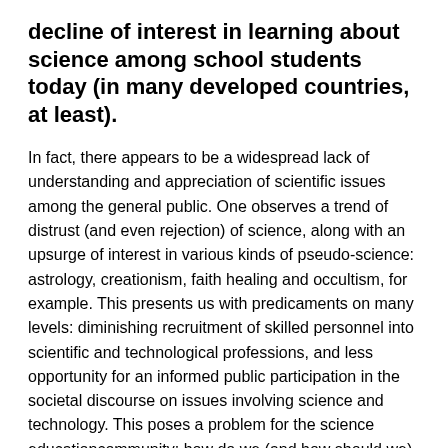decline of interest in learning about science among school students today (in many developed countries, at least).
In fact, there appears to be a widespread lack of understanding and appreciation of scientific issues among the general public. One observes a trend of distrust (and even rejection) of science, along with an upsurge of interest in various kinds of pseudo-science: astrology, creationism, faith healing and occultism, for example. This presents us with predicaments on many levels: diminishing recruitment of skilled personnel into scientific and technological professions, and less opportunity for an informed public participation in the societal discourse on issues involving science and technology. This poses a problem for the science educationcommunity: how do we (and how should we) present science to students and to the general public?